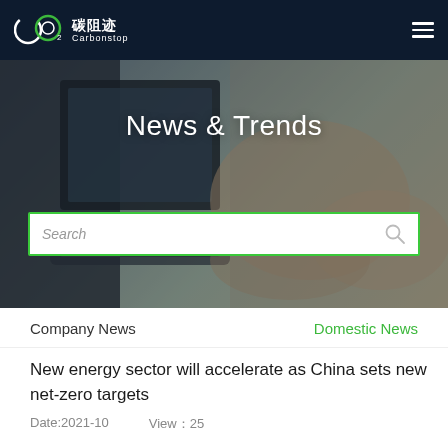碳阻迹 Carbonstop
News & Trends
Search
Company News    Domestic News
New energy sector will accelerate as China sets new net-zero targets
Date:2021-10    View：25